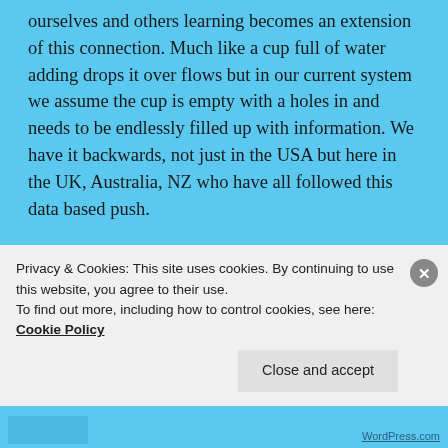ourselves and others learning becomes an extension of this connection. Much like a cup full of water adding drops it over flows but in our current system we assume the cup is empty with a holes in and needs to be endlessly filled up with information. We have it backwards, not just in the USA but here in the UK, Australia, NZ who have all followed this data based push.
I found your facts about the amount of money involved in this data testing focus shocking, and it feels corrupt. it then made sense to me why there
Privacy & Cookies: This site uses cookies. By continuing to use this website, you agree to their use.
To find out more, including how to control cookies, see here: Cookie Policy
Close and accept